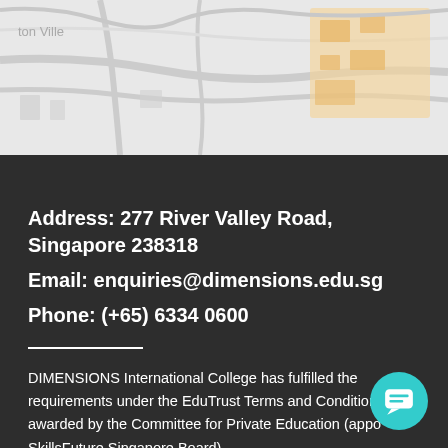[Figure (map): Street map showing area with 'ton Ville' label visible, with a highlighted orange/beige region on the right side]
Address: 277 River Valley Road, Singapore 238318
Email: enquiries@dimensions.edu.sg
Phone: (+65) 6334 0600
DIMENSIONS International College has fulfilled the requirements under the EduTrust Terms and Conditions awarded by the Committee for Private Education (appo SkillsFuture Singapore Board).
At the School of Higher Education, we offer an array of